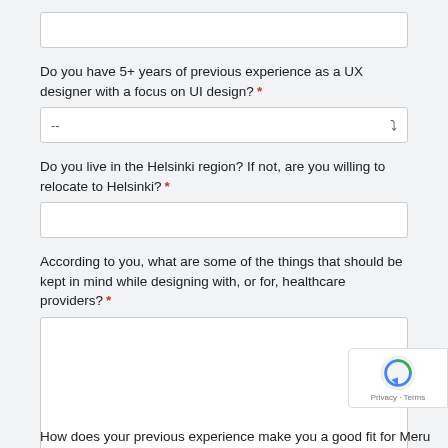[Figure (screenshot): Empty text input field at the top of the form]
Do you have 5+ years of previous experience as a UX designer with a focus on UI design? *
[Figure (screenshot): Dropdown select field showing '--' placeholder with down arrow]
Do you live in the Helsinki region? If not, are you willing to relocate to Helsinki? *
[Figure (screenshot): Empty single-line text input field]
According to you, what are some of the things that should be kept in mind while designing with, or for, healthcare providers? *
[Figure (screenshot): Large empty textarea for long-form text response]
How does your previous experience make you a good fit for Meru